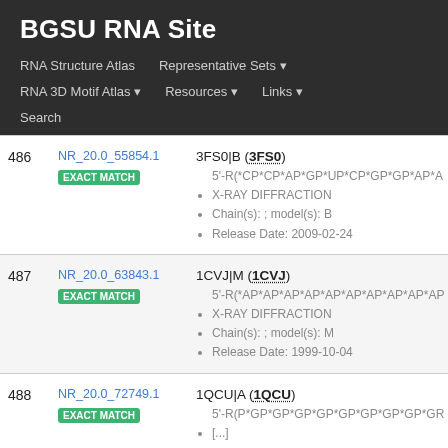BGSU RNA Site
RNA Structure Atlas | Representative Sets | RNA 3D Motif Atlas | Resources | Links | Search
| # | ID | Details |
| --- | --- | --- |
| 486 | NR_20.0_55854.1 EXACT MATCH | 3FS0|B (3FS0)
5'-R(*CP*CP*AP*GP*UP*CP*GP*GP*AP*A
X-RAY DIFFRACTION
Chain(s): ; model(s): B
Release Date: 2009-02-24 |
| 487 | NR_20.0_63843.1 EXACT MATCH | 1CVJ|M (1CVJ)
5'-R(*AP*AP*AP*AP*AP*AP*AP*AP*AP*AP
X-RAY DIFFRACTION
Chain(s): ; model(s): M
Release Date: 1999-10-04 |
| 488 | NR_20.0_72749.1 EXACT MATCH | 1QCU|A (1QCU)
5'-R(P*GP*GP*GP*GP*GP*GP*GP*GP*GR
[...] |